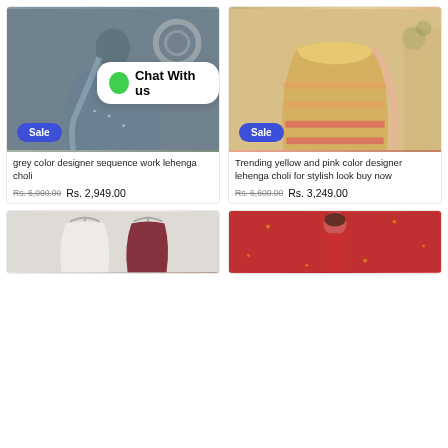[Figure (photo): Grey color designer sequence work lehenga choli worn by a woman, with a Sale badge and Chat With us bubble overlay]
[Figure (photo): Trending yellow and pink color designer lehenga choli on a mannequin, with a Sale badge]
grey color designer sequence work lehenga choli
Rs. 6,000.00  Rs. 2,949.00
Trending yellow and pink color designer lehenga choli for stylish look buy now
Rs. 6,600.00  Rs. 3,249.00
[Figure (photo): White and maroon lehenga choli on hangers]
[Figure (photo): Woman in red dress against a golden sparkle background]